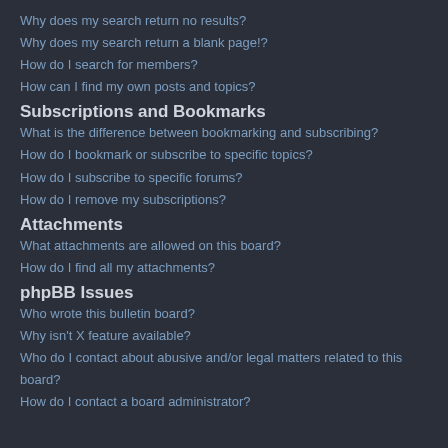Why does my search return no results?
Why does my search return a blank page!?
How do I search for members?
How can I find my own posts and topics?
Subscriptions and Bookmarks
What is the difference between bookmarking and subscribing?
How do I bookmark or subscribe to specific topics?
How do I subscribe to specific forums?
How do I remove my subscriptions?
Attachments
What attachments are allowed on this board?
How do I find all my attachments?
phpBB Issues
Who wrote this bulletin board?
Why isn't X feature available?
Who do I contact about abusive and/or legal matters related to this board?
How do I contact a board administrator?